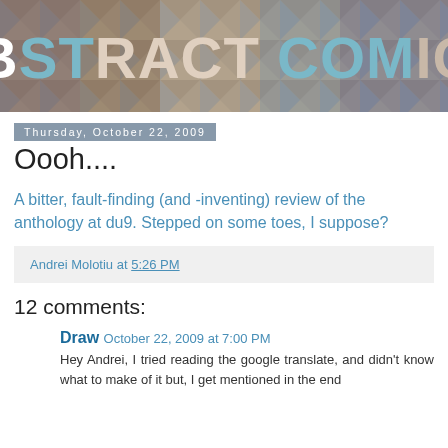[Figure (illustration): Abstract Comics blog banner with geometric triangle/diamond pattern background in muted browns, grays, and blues. Large white and teal text reads 'ABSTRACT COMICS'.]
Thursday, October 22, 2009
Oooh....
A bitter, fault-finding (and -inventing) review of the anthology at du9. Stepped on some toes, I suppose?
Andrei Molotiu at 5:26 PM
12 comments:
Draw  October 22, 2009 at 7:00 PM
Hey Andrei, I tried reading the google translate, and didn't know what to make of it but, I get mentioned in the end